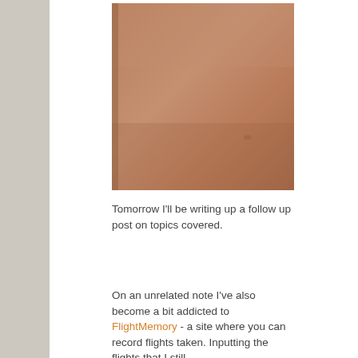[Figure (photo): A photo of a brown/tan cardboard or paper surface, portrait orientation, taking up the left side of the upper portion of the page.]
Tomorrow I'll be writing up a follow up post on topics covered.
On an unrelated note I've also become a bit addicted to FlightMemory - a site where you can record flights taken. Inputting the flights that I still